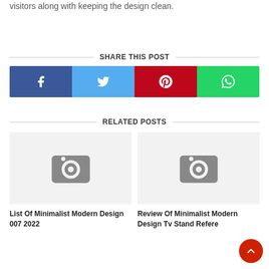visitors along with keeping the design clean.
SHARE THIS POST
[Figure (infographic): Social share buttons: Facebook (blue), Twitter (light blue), Pinterest (red), WhatsApp (green)]
RELATED POSTS
[Figure (photo): Placeholder camera icon image for related post 1]
List Of Minimalist Modern Design 007 2022
[Figure (photo): Placeholder camera icon image for related post 2]
Review Of Minimalist Modern Design Tv Stand Refere...